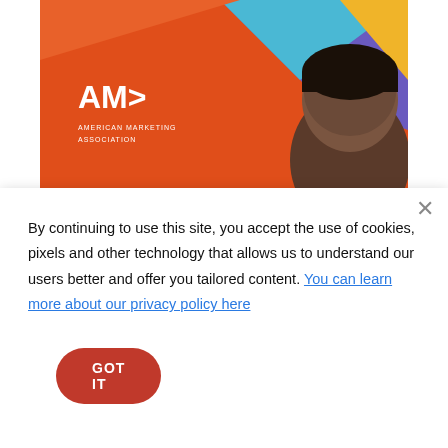[Figure (illustration): American Marketing Association banner ad with colorful geometric background (orange, blue, purple, yellow) and partial face of a person. AMA logo and 'AMERICAN MARKETING ASSOCIATION' text in white on the left.]
By continuing to use this site, you accept the use of cookies, pixels and other technology that allows us to understand our users better and offer you tailored content. You can learn more about our privacy policy here
GOT IT